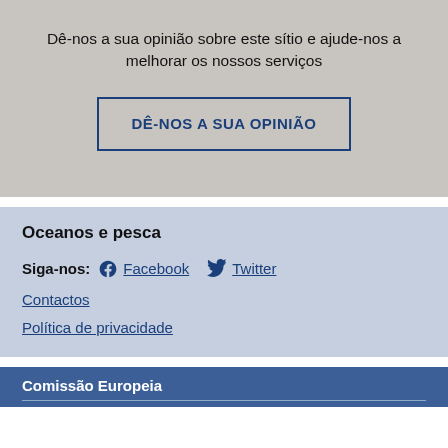Dê-nos a sua opinião sobre este sítio e ajude-nos a melhorar os nossos serviços
[Figure (other): Button with border: DÊ-NOS A SUA OPINIÃO]
Oceanos e pesca
Siga-nos: Facebook Twitter
Contactos
Política de privacidade
Comissão Europeia